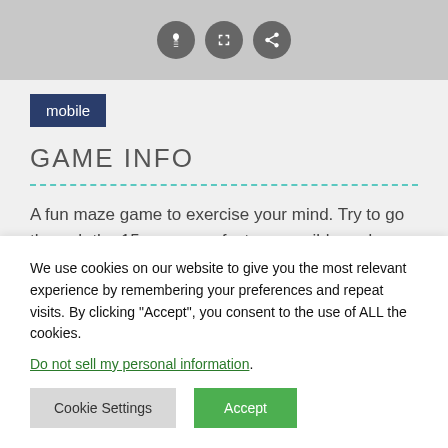[Figure (screenshot): Top banner with gray background containing three circular icon buttons (lightbulb, expand/fullscreen, and share icons) in dark gray circles]
mobile
GAME INFO
A fun maze game to exercise your mind. Try to go through the 15 mazes as fast as possible and compare the time with your
We use cookies on our website to give you the most relevant experience by remembering your preferences and repeat visits. By clicking “Accept”, you consent to the use of ALL the cookies.
Do not sell my personal information.
Cookie Settings
Accept